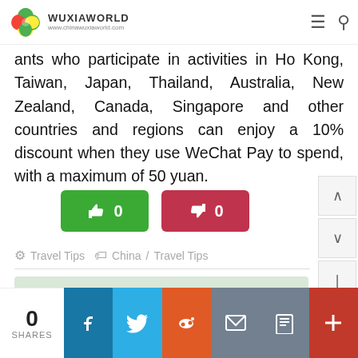WUXIAWORLD www.chinawuxiaworld.com
ants who participate in activities in Ho Kong, Taiwan, Japan, Thailand, Australia, New Zealand, Canada, Singapore and other countries and regions can enjoy a 10% discount when they use WeChat Pay to spend, with a maximum of 50 yuan.
[Figure (other): Two vote buttons: green thumbs up with count 0, red thumbs down with count 0]
Travel Tips   China / Travel Tips
← Can I Use My Debit Card in China?
0 SHARES | Facebook | Twitter | Reddit | Email | Print | +